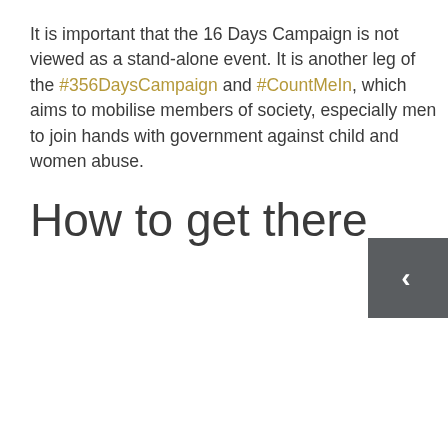It is important that the 16 Days Campaign is not viewed as a stand-alone event. It is another leg of the #356DaysCampaign and #CountMeIn, which aims to mobilise members of society, especially men to join hands with government against child and women abuse.
How to get there
[Figure (other): Navigation button with left-pointing arrow chevron on dark grey background]